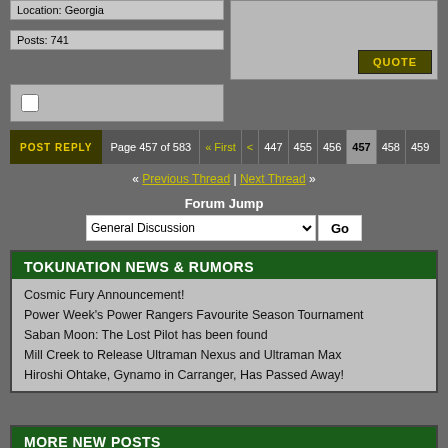Location: Georgia
Posts: 741
POST REPLY   Page 457 of 583   « First  <  447  455  456  457  458  459
« Previous Thread | Next Thread »
Forum Jump
General Discussion
TOKUNATION NEWS & RUMORS
Cosmic Fury Announcement!
Power Week's Power Rangers Favourite Season Tournament
Saban Moon: The Lost Pilot has been found
Mill Creek to Release Ultraman Nexus and Ultraman Max
Hiroshi Ohtake, Gynamo in Carranger, Has Passed Away!
MORE NEW POSTS